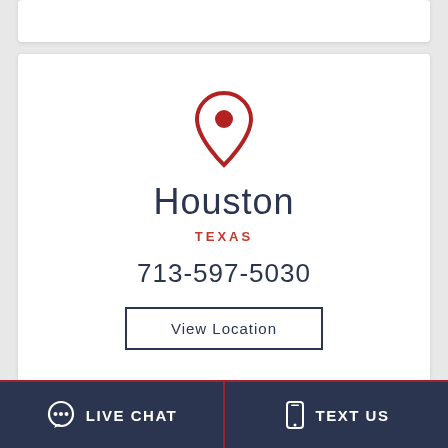[Figure (other): Top white card strip (partial card above main content)]
[Figure (infographic): Location card with map pin icon, city name Houston, state TEXAS, phone number 713-597-5030, and View Location button]
Houston
TEXAS
713-597-5030
View Location
[Figure (other): Bottom partial white card strip]
LIVE CHAT   TEXT US